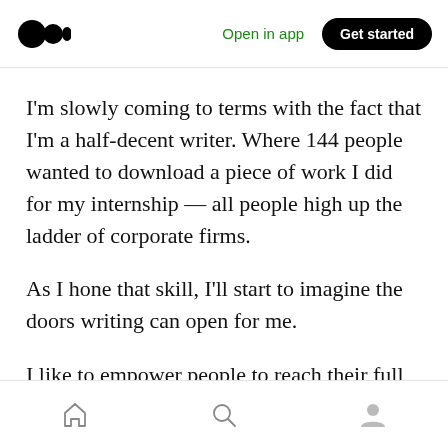Medium logo | Open in app | Get started
I'm slowly coming to terms with the fact that I'm a half-decent writer. Where 144 people wanted to download a piece of work I did for my internship — all people high up the ladder of corporate firms.
As I hone that skill, I'll start to imagine the doors writing can open for me.
I like to empower people to reach their full potential.
Home | Search | Profile